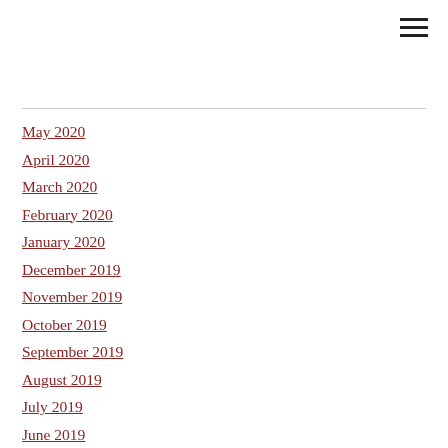May 2020
April 2020
March 2020
February 2020
January 2020
December 2019
November 2019
October 2019
September 2019
August 2019
July 2019
June 2019
May 2019
April 2019
March 2019
February 2019
January 2019